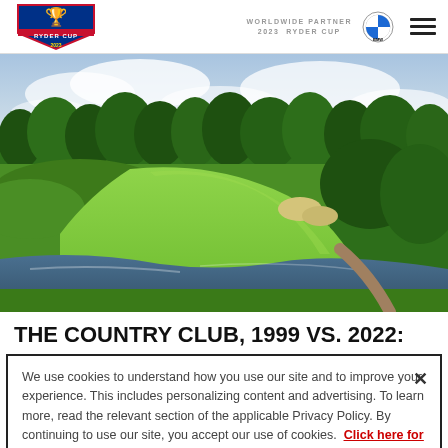WORLDWIDE PARTNER 2023 RYDER CUP
[Figure (photo): Aerial view of a golf course fairway with lush green grass, trees lining the edges, sand bunkers, a water hazard in the foreground, and cloudy sky above.]
THE COUNTRY CLUB, 1999 VS. 2022:
We use cookies to understand how you use our site and to improve your experience. This includes personalizing content and advertising. To learn more, read the relevant section of the applicable Privacy Policy. By continuing to use our site, you accept our use of cookies. Click here for our Privacy Policy.